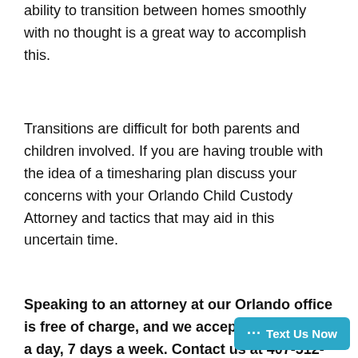ability to transition between homes smoothly with no thought is a great way to accomplish this.
Transitions are difficult for both parents and children involved. If you are having trouble with the idea of a timesharing plan discuss your concerns with your Orlando Child Custody Attorney and tactics that may aid in this uncertain time.
Speaking to an attorney at our Orlando office is free of charge, and we accept c a day, 7 days a week. Contact us at 407-512-